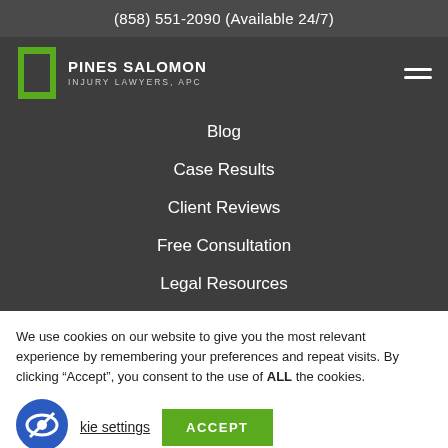(858) 551-2090 (Available 24/7)
[Figure (logo): Pines Salomon Injury Lawyers, APC logo with green pillar icon]
Blog
Case Results
Client Reviews
Free Consultation
Legal Resources
We use cookies on our website to give you the most relevant experience by remembering your preferences and repeat visits. By clicking “Accept”, you consent to the use of ALL the cookies.
kie settings  ACCEPT